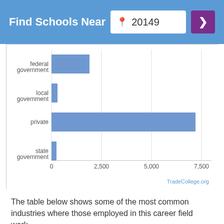Find Schools Near 20149
[Figure (bar-chart): Employment by Sector]
The table below shows some of the most common industries where those employed in this career field work.